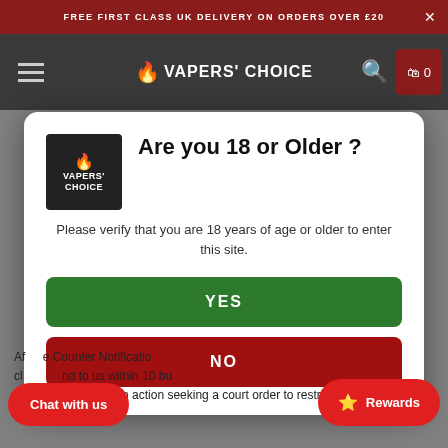FREE FIRST CLASS UK DELIVERY ON ORDERS OVER £20
[Figure (logo): Vapers' Choice website navigation bar with logo, hamburger menu, search icon, and cart icon]
Are you 18 or Older ?
Please verify that you are 18 years of age or older to enter this site.
YES
NO
After the Counter Notification, claimant and to us within 10 bu he or she has filed an action seeking a court order to restrain
Chat with us
Rewards